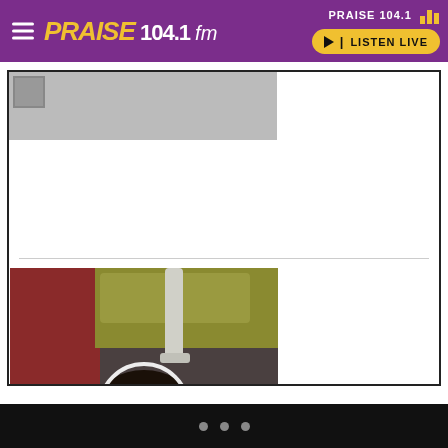PRAISE 104.1 fm — navigation header with logo, Listen Live button
[Figure (screenshot): Praise 104.1 FM website screenshot showing header with purple background, logo, hamburger menu, LISTEN LIVE button, a content card with a thumbnail image strip, a divider line, and a video thumbnail with a play button overlay]
Pagination dots navigation (3 dots)